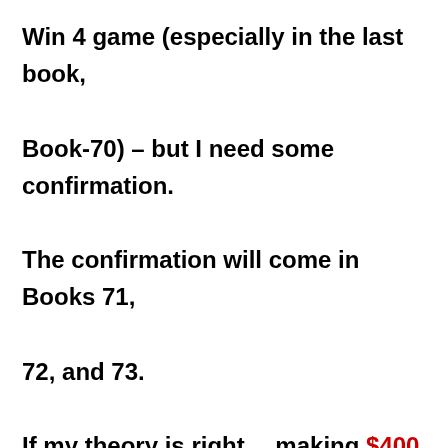Win 4 game (especially in the last book, Book-70) – but I need some confirmation. The confirmation will come in Books 71, 72, and 73.

If my theory is right….making $400 to $1,000 or more EVERY WEEK is very possible. You will need to have the bankroll to use the strategy I have in mind but you will be getting back about